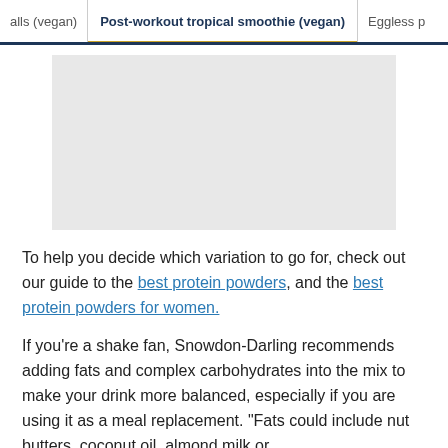alls (vegan) | Post-workout tropical smoothie (vegan) | Eggless p
[Figure (photo): Light gray placeholder image rectangle]
To help you decide which variation to go for, check out our guide to the best protein powders, and the best protein powders for women.
If you’re a shake fan, Snowdon-Darling recommends adding fats and complex carbohydrates into the mix to make your drink more balanced, especially if you are using it as a meal replacement. “Fats could include nut butters, coconut oil, almond milk or